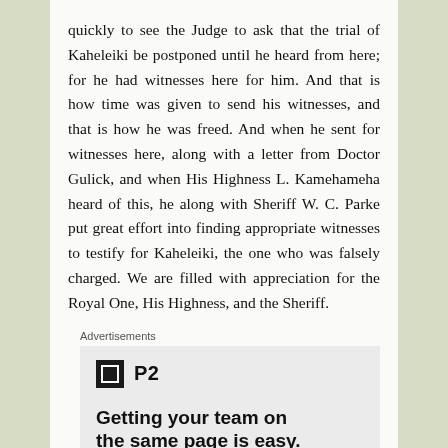quickly to see the Judge to ask that the trial of Kaheleiki be postponed until he heard from here; for he had witnesses here for him. And that is how time was given to send his witnesses, and that is how he was freed. And when he sent for witnesses here, along with a letter from Doctor Gulick, and when His Highness L. Kamehameha heard of this, he along with Sheriff W. C. Parke put great effort into finding appropriate witnesses to testify for Kaheleiki, the one who was falsely charged. We are filled with appreciation for the Royal One, His Highness, and the Sheriff.
Advertisements
[Figure (other): Advertisement for P2 with logo icon and headline: Getting your team on the same page is easy. And free.]